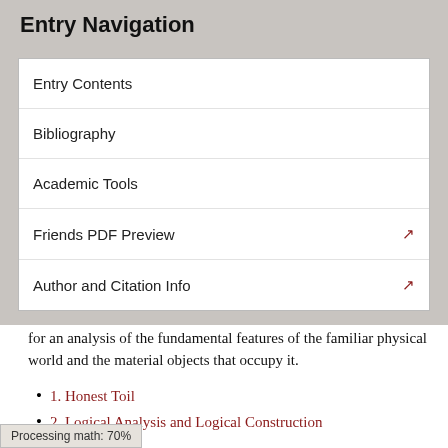Entry Navigation
Entry Contents
Bibliography
Academic Tools
Friends PDF Preview
Author and Citation Info
for an analysis of the fundamental features of the familiar physical world and the material objects that occupy it.
1. Honest Toil
2. Logical Analysis and Logical Construction
3. Natural Numbers
4. Definite Descriptions
5. Classes
6. Series, Ordinal Numbers and Real Numbers
7. Mathematical Functions
Processing math: 70%